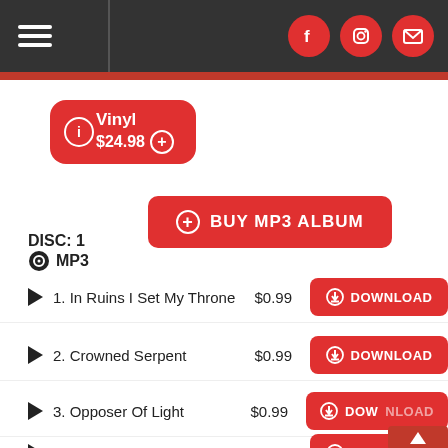Navigation bar with hamburger menu and social icons (Facebook, Instagram, Email)
Vinyl $24.98
BUY MP3 ALBUM
DISC: 1
MP3
1. In Ruins I Set My Throne  $0.99  DOWNLOAD
2. Crowned Serpent  $0.99  DOWNLOAD
3. Opposer Of Light  $0.99  DOWNLOAD
4. Tombs Into Flesh  $0.99  DOWNLOAD